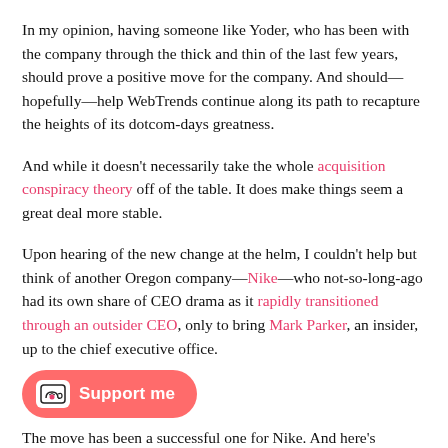In my opinion, having someone like Yoder, who has been with the company through the thick and thin of the last few years, should prove a positive move for the company. And should—hopefully—help WebTrends continue along its path to recapture the heights of its dotcom-days greatness.
And while it doesn't necessarily take the whole acquisition conspiracy theory off of the table. It does make things seem a great deal more stable.
Upon hearing of the new change at the helm, I couldn't help but think of another Oregon company—Nike—who not-so-long-ago had its own share of CEO drama as it rapidly transitioned through an outsider CEO, only to bring Mark Parker, an insider, up to the chief executive office.
The move has been a successful one for Nike. And here's